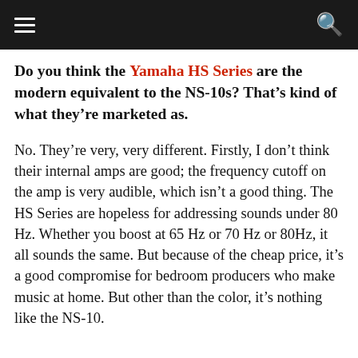Navigation bar with hamburger menu and search icon
Do you think the Yamaha HS Series are the modern equivalent to the NS-10s? That’s kind of what they’re marketed as.
No. They’re very, very different. Firstly, I don’t think their internal amps are good; the frequency cutoff on the amp is very audible, which isn’t a good thing. The HS Series are hopeless for addressing sounds under 80 Hz. Whether you boost at 65 Hz or 70 Hz or 80Hz, it all sounds the same. But because of the cheap price, it’s a good compromise for bedroom producers who make music at home. But other than the color, it’s nothing like the NS-10.